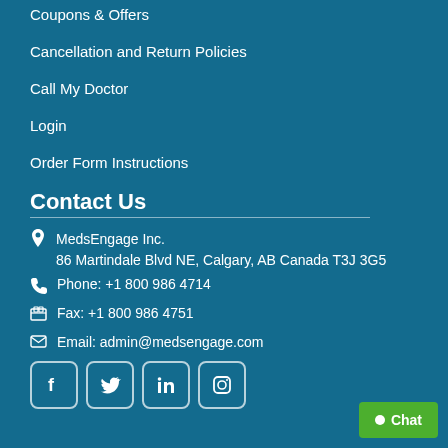Coupons & Offers
Cancellation and Return Policies
Call My Doctor
Login
Order Form Instructions
Contact Us
MedsEngage Inc.
86 Martindale Blvd NE, Calgary, AB Canada T3J 3G5
Phone: +1 800 986 4714
Fax: +1 800 986 4751
Email: admin@medsengage.com
[Figure (other): Social media icons: Facebook, Twitter, LinkedIn, Instagram]
Chat